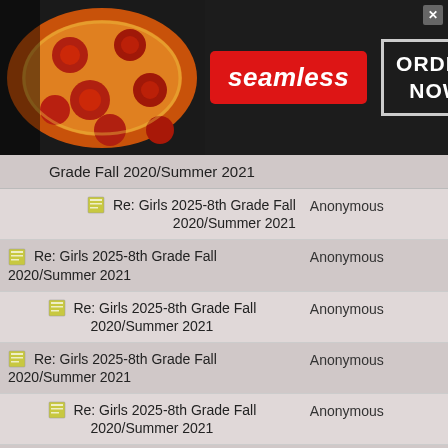[Figure (infographic): Seamless food delivery advertisement banner with pizza image, Seamless logo in red, and ORDER NOW button]
| Grade Fall 2020/Summer 2021 |  |
| --- | --- |
| 🗒 Re: Girls 2025-8th Grade Fall 2020/Summer 2021 | Anonymous |
| 🗒 Re: Girls 2025-8th Grade Fall 2020/Summer 2021 | Anonymous |
| 🗒 Re: Girls 2025-8th Grade Fall 2020/Summer 2021 | Anonymous |
| 🗒 Re: Girls 2025-8th Grade Fall 2020/Summer 2021 | Anonymous |
| 🗒 Re: Girls 2025-8th Grade Fall 2020/Summer 2021 | Anonymous |
| 🗒 Re: Girls 2025-8th Grade Fall | Anonymous |
[Figure (infographic): MAC cosmetics advertisement with lipsticks, MAC logo, and SHOP NOW button]